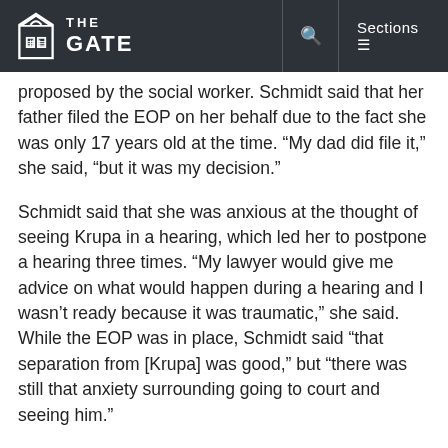THE GATE
proposed by the social worker. Schmidt said that her father filed the EOP on her behalf due to the fact she was only 17 years old at the time. “My dad did file it,” she said, “but it was my decision.”
Schmidt said that she was anxious at the thought of seeing Krupa in a hearing, which led her to postpone a hearing three times. “My lawyer would give me advice on what would happen during a hearing and I wasn’t ready because it was traumatic,” she said. While the EOP was in place, Schmidt said “that separation from [Krupa] was good,” but “there was still that anxiety surrounding going to court and seeing him.”
Krupa argued that the claim that Juliet was too upset